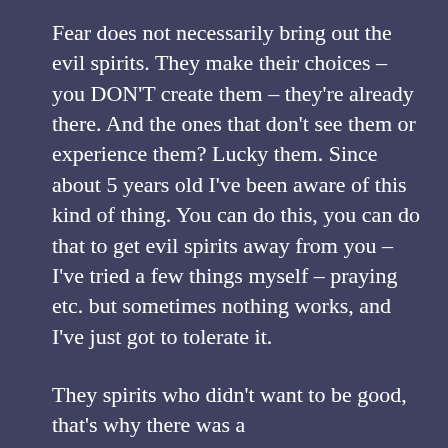Fear does not necessarily bring out the evil spirits. They make their choices – you DON'T create them – they're already there. And the ones that don't see them or experience them? Lucky them. Since about 5 years old I've been aware of this kind of thing. You can do this, you can do that to get evil spirits away from you – I've tried a few things myself – praying etc. but sometimes nothing works, and I've just got to tolerate it.
They spirits who didn't want to be good, that's why there was a